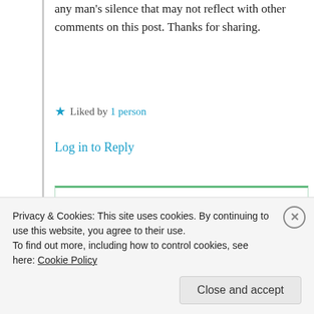any man's silence that may not reflect with other comments on this post. Thanks for sharing.
Liked by 1 person
Log in to Reply
Suma Reddy
11th Jul 2021 at 6:49 am
Privacy & Cookies: This site uses cookies. By continuing to use this website, you agree to their use. To find out more, including how to control cookies, see here: Cookie Policy
Close and accept